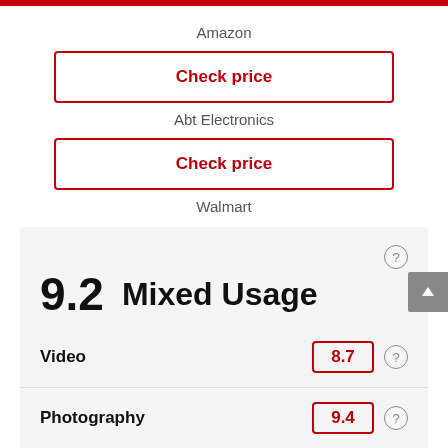Amazon
Check price
Abt Electronics
Check price
Walmart
9.2  Mixed Usage
Video  8.7
Photography  9.4